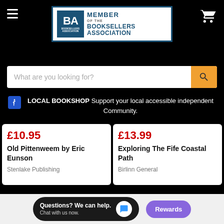[Figure (logo): Member of the Booksellers Association logo badge with blue and white design]
What are you looking for?
LOCAL BOOKSHOP Support your local accessible independent Community.
£10.95
Old Pittenweem by Eric Eunson
Stenlake Publishing
£13.99
Exploring The Fife Coastal Path
Birlinn General
Questions? We can help. Chat with us now.
Rewards